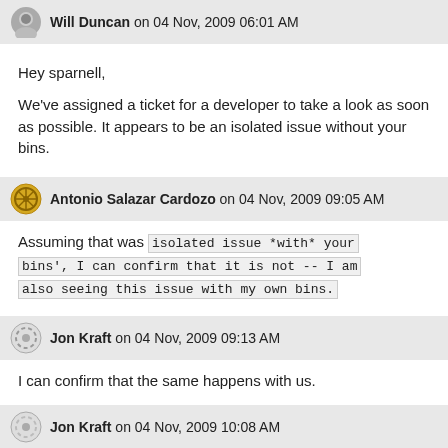Will Duncan on 04 Nov, 2009 06:01 AM
Hey sparnell,

We've assigned a ticket for a developer to take a look as soon as possible. It appears to be an isolated issue without your bins.
Antonio Salazar Cardozo on 04 Nov, 2009 09:05 AM
Assuming that was isolated issue *with* your bins', I can confirm that it is not -- I am also seeing this issue with my own bins.
Jon Kraft on 04 Nov, 2009 09:13 AM
I can confirm that the same happens with us.
Jon Kraft on 04 Nov, 2009 10:08 AM